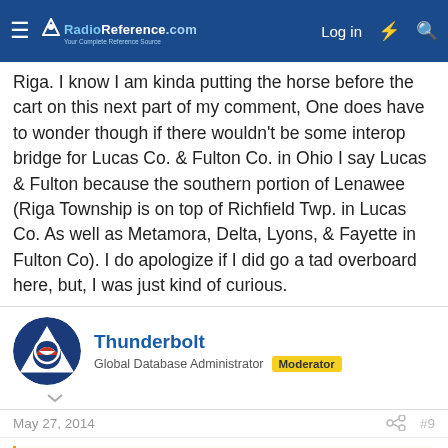RadioReference.com — Log in
Riga. I know I am kinda putting the horse before the cart on this next part of my comment, One does have to wonder though if there wouldn't be some interop bridge for Lucas Co. & Fulton Co. in Ohio I say Lucas & Fulton because the southern portion of Lenawee (Riga Township is on top of Richfield Twp. in Lucas Co. As well as Metamora, Delta, Lyons, & Fayette in Fulton Co). I do apologize if I did go a tad overboard here, but, I was just kind of curious.
Thunderbolt
Global Database Administrator | Moderator
May 27, 2014   #9
nsrailfan6130 said: I know I am kinda putting the horse before the cart on this next part of my comment, One does have to wonder though if there wouldn't be some interop bridge for Lucas Co. & Fulton Co. in Ohio I say Lucas &